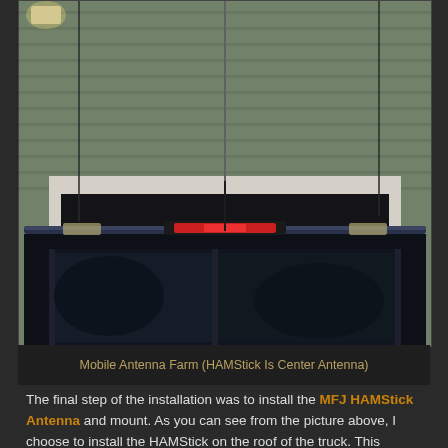[Figure (photo): Photo of the rear of a dark truck parked in a driveway in front of a garage. The house siding is a sage/green color. Multiple antennas are visible rising from the truck roof, with the HAMStick antenna in the center. A light fixture is visible in the upper left of the frame.]
Mobile Antenna Farm (HAMStick Is Center Antenna)
The final step of the installation was to install the MFJ HAMStick Antenna and mount. As you can see from the picture above, I choose to install the HAMStick on the roof of the truck. This